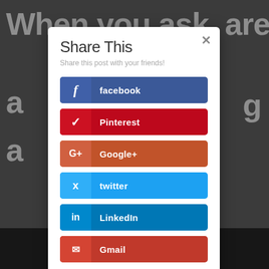Share This
Share this post with your friends!
facebook
Pinterest
Google+
twitter
LinkedIn
Gmail